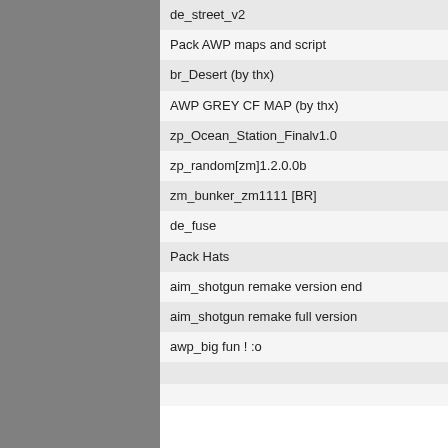de_street_v2
Pack AWP maps and script
br_Desert (by thx)
AWP GREY CF MAP (by thx)
zp_Ocean_Station_Finalv1.0
zp_random[zm]1.2.0.0b
zm_bunker_zm1111 [BR]
de_fuse
Pack Hats
aim_shotgun remake version end
aim_shotgun remake full version
awp_big fun ! :o
© Unreal Software, 2003-2022 | This website is using co